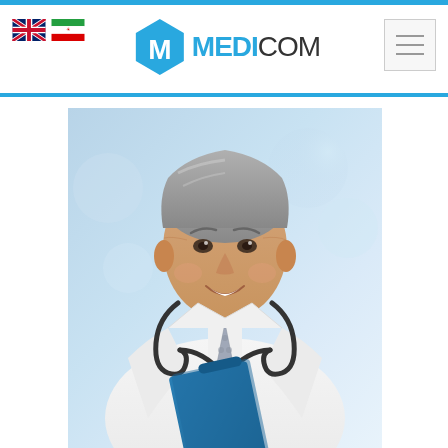[Figure (logo): MEDICOM logo with hexagon M icon and two flag icons (UK and Iran)]
[Figure (photo): Smiling middle-aged male doctor in white lab coat with stethoscope around neck, holding a blue clipboard/folder, standing in a bright clinical environment]